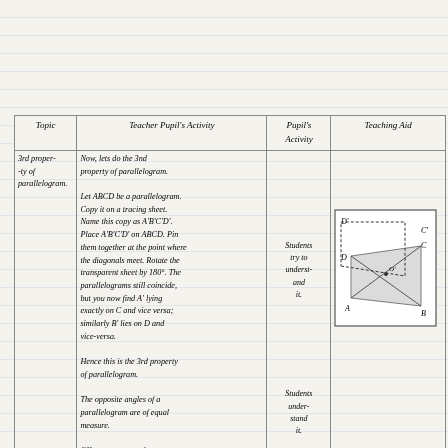| Topic | Teacher Pupil's Activity | Pupil's Activity | Teaching Aid |
| --- | --- | --- | --- |
| 3rd property of parallelogram. | Now, lets do the 3nd property of parallelogram.

Let ABCD be a parallelogram. Copy it on a tracing sheet. Name this copy as A'B'C'D'. Place A'B'C'D' on ABCD. Pin them together at the point where the diagonals meet. Rotate the transparent sheet by 180°. The parallelograms still coincide, but you now find A' lying exactly on C and vice versa; similarly B' lies on D and vice-versa.

Hence this is the 3rd property of parallelogram.

The opposite angles of a parallelogram are of equal measure.

OK, now we go to the 4th property of parallelogram. before that solve the | Students try to understand it.

Students understand it. | [diagram of parallelogram ABCD with A'B'C'D' overlay] |